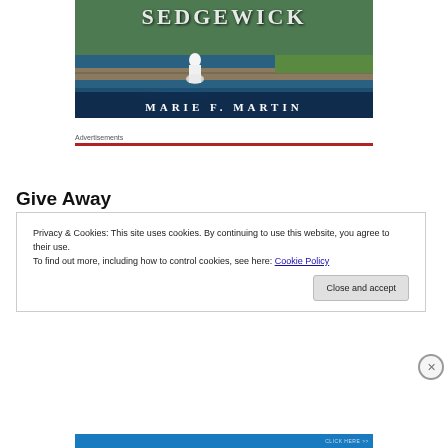[Figure (illustration): Book cover showing a woman in white dress walking on a stone path by water, with title SEDGEWICK partially visible and author name MARIE F. MARTIN at the bottom]
Advertisements
Give Away
Privacy & Cookies: This site uses cookies. By continuing to use this website, you agree to their use.
To find out more, including how to control cookies, see here: Cookie Policy
Close and accept